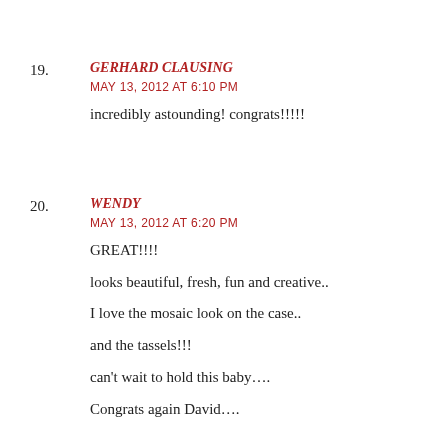19. GERHARD CLAUSING
MAY 13, 2012 AT 6:10 PM
incredibly astounding! congrats!!!!!
20. WENDY
MAY 13, 2012 AT 6:20 PM
GREAT!!!!
looks beautiful, fresh, fun and creative..
I love the mosaic look on the case..
and the tassels!!!
can't wait to hold this baby….
Congrats again David….